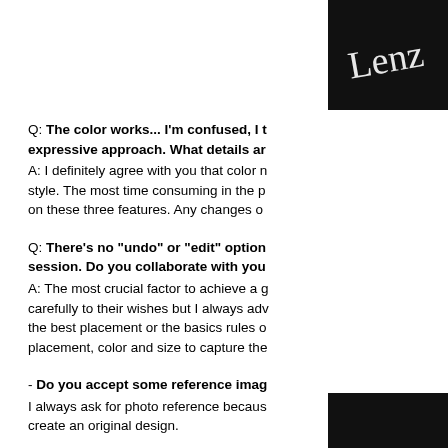[Figure (logo): Script/cursive 'Lenz' logo text on black background, top right corner]
Q: The color works... I'm confused, I t expressive approach. What details ar A: I definitely agree with you that color n style. The most time consuming in the p on these three features. Any changes o
Q: There's no "undo" or "edit" option session. Do you collaborate with you A: The most crucial factor to achieve a g carefully to their wishes but I always adv the best placement or the basics rules o placement, color and size to capture the
- Do you accept some reference imag I always ask for photo reference becaus create an original design.
[Figure (logo): Black rectangle at bottom right corner, partial logo]